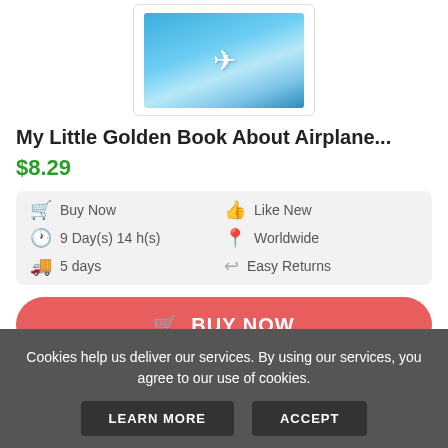[Figure (photo): Book cover thumbnail at top — My Little Golden Book About Airplanes, teal/blue sky with airplane]
My Little Golden Book About Airplane...
$8.29
Buy Now | 9 Day(s) 14 h(s) | 5 days | Like New | Worldwide | Easy Returns
BUY NOW
[Figure (photo): Book cover thumbnail at bottom — My Little Golden Book About Airplanes, colorful cover with AIRPLANES text]
Cookies help us deliver our services. By using our services, you agree to our use of cookies.
LEARN MORE   ACCEPT